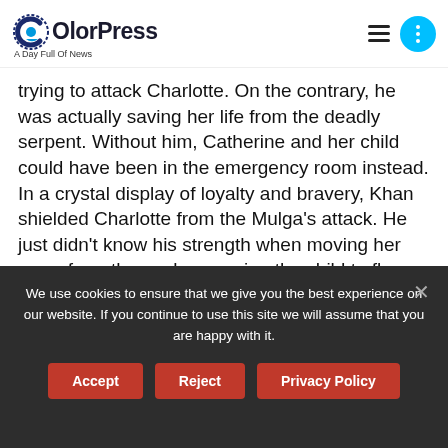[Figure (logo): ColorPress logo with circular icon and text 'ColorPress' and tagline 'A Day Full Of News']
trying to attack Charlotte. On the contrary, he was actually saving her life from the deadly serpent. Without him, Catherine and her child could have been in the emergency room instead. In a crystal display of loyalty and bravery, Khan shielded Charlotte from the Mulga's attack. He just didn't know his strength when moving her away from the snake, causing the child to fly across the yard.

Not only did he take a lethal bite as a
We use cookies to ensure that we give you the best experience on our website. If you continue to use this site we will assume that you are happy with it.